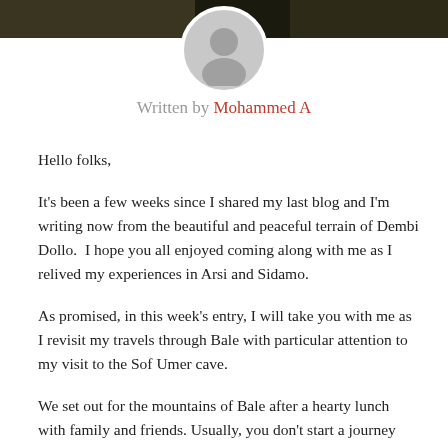[Figure (photo): Dark nature/landscape background image strip at the top of the page, with a circular gray avatar/profile placeholder centered at the top overlapping the image.]
Written by Mohammed A
Hello folks,
It's been a few weeks since I shared my last blog and I'm writing now from the beautiful and peaceful terrain of Dembi Dollo.  I hope you all enjoyed coming along with me as I relived my experiences in Arsi and Sidamo.
As promised, in this week's entry, I will take you with me as I revisit my travels through Bale with particular attention to my visit to the Sof Umer cave.
We set out for the mountains of Bale after a hearty lunch with family and friends. Usually, you don't start a journey after midday but since there are so many people to see and greet, I had to adjust my schedule to accommodate the invitations.  With the sun